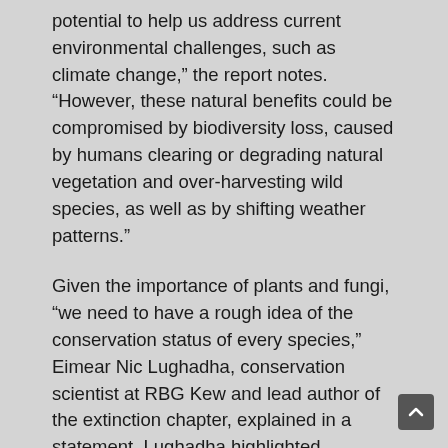potential to help us address current environmental challenges, such as climate change,” the report notes. “However, these natural benefits could be compromised by biodiversity loss, caused by humans clearing or degrading natural vegetation and over-harvesting wild species, as well as by shifting weather patterns.”
Given the importance of plants and fungi, “we need to have a rough idea of the conservation status of every species,” Eimear Nic Lughadha, conservation scientist at RBG Kew and lead author of the extinction chapter, explained in a statement. Lughadha highlighted advancements with artificial intelligence, adding, “the techniques are good enough to say, ‘this area has a lot of species that haven’t been assessed but are almost certainly threatened.’”
In 2019 alone, 1,942 plants and 1,886 fungi were scientifically named for the first time, according to the report—which adds thaᵗ